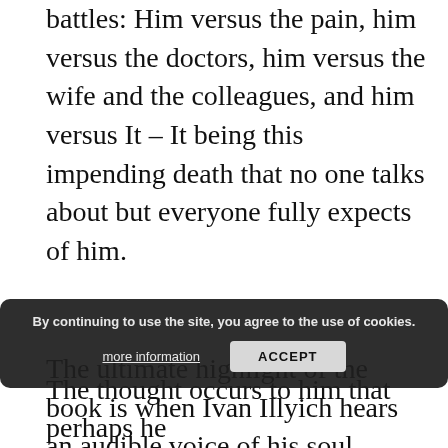battles: Him versus the pain, him versus the doctors, him versus the wife and the colleagues, and him versus It – It being this impending death that no one talks about but everyone fully expects of him.
The ultimate highlight of the book is when Ivan Illyich hears an audible voice of his soul talking back to him in response to his incessant questioning of why this is happening to him. He questions why he has to die and the voice says what do you want and he answers that he wants to live and the voice asks, live now? And that is when it happens.
By continuing to use the site, you agree to the use of cookies. more information ACCEPT
The thought occurs to him that perhaps he